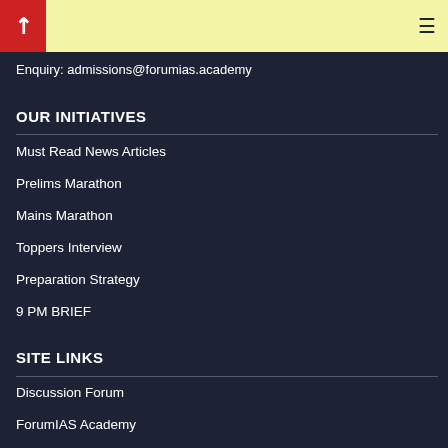Enquiry: admissions@forumias.academy
OUR INITIATIVES
Must Read News Articles
Prelims Marathon
Mains Marathon
Toppers Interview
Preparation Strategy
9 PM BRIEF
SITE LINKS
Discussion Forum
ForumIAS Academy